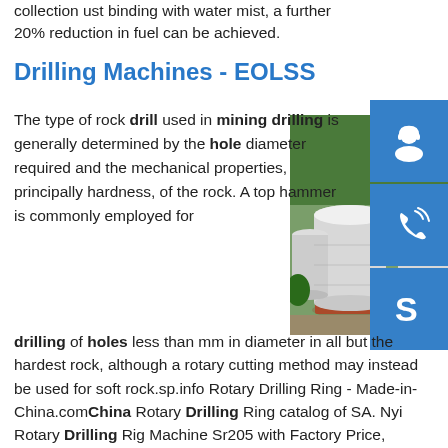collection ust binding with water mist, a further 20% reduction in fuel can be achieved.
Drilling Machines - EOLSS
The type of rock drill used in mining drilling is generally determined by the hole diameter required and the mechanical properties, principally hardness, of the rock. A top hammer is commonly employed for drilling of holes less than mm in diameter in all but the hardest rock, although a rotary cutting method may instead be used for soft rock.sp.info Rotary Drilling Ring - Made-in-China.comChina Rotary Drilling Ring catalog of SA. Nyi Rotary Drilling Rig Machine Sr205 with Factory Price, Zoomlion Soil Condition Foundation Construction Rotary Drilling Rig Zr160A-1 provided by China manufacturer -
[Figure (photo): Aerial photograph of large white cylindrical industrial storage tanks surrounded by trees]